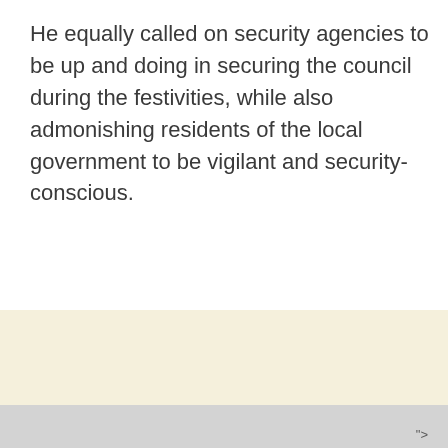He equally called on security agencies to be up and doing in securing the council during the festivities, while also admonishing residents of the local government to be vigilant and security-conscious.
">